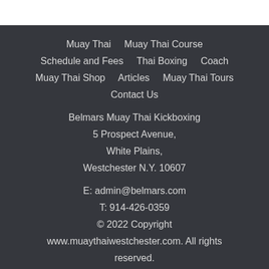Muay Thai    Muay Thai Course
Schedule and Fees    Thai Boxing    Coach
Muay Thai Shop    Articles    Muay Thai Tours
Contact Us

Belmars Muay Thai Kickboxing
5 Prospect Avenue,
White Plains,
Westchester N.Y. 10607

E: admin@belmars.com
T: 914-426-0359
© 2022 Copyright
www.muaythaiwestchester.com. All rights reserved.